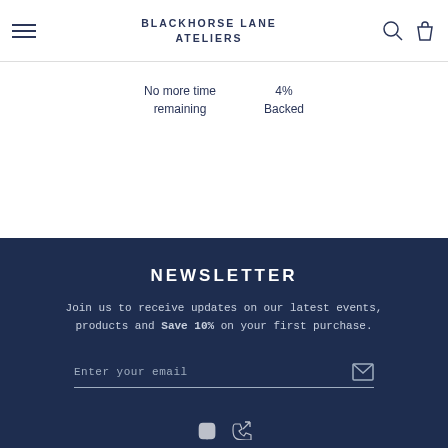BLACKHORSE LANE ATELIERS
No more time remaining
4% Backed
NEWSLETTER
Join us to receive updates on our latest events, products and Save 10% on your first purchase.
Enter your email